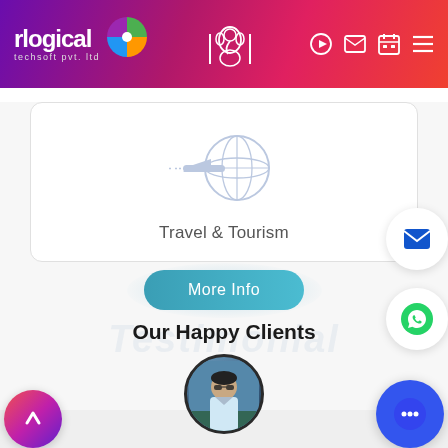rlogical techsoft pvt. ltd — navigation header
[Figure (screenshot): Card with travel & tourism globe/airplane icon and text 'Travel & Tourism']
Travel & Tourism
[Figure (infographic): More Info button with teal gradient glow effect]
Our Happy Clients
Testimonial (watermark background text)
[Figure (photo): Circular profile photo of a young man in a light blue shirt outdoors]